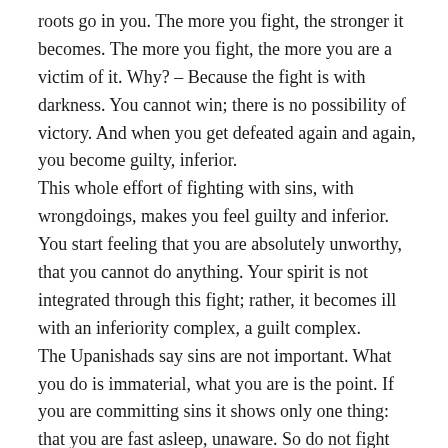roots go in you. The more you fight, the stronger it becomes. The more you fight, the more you are a victim of it. Why? – Because the fight is with darkness. You cannot win; there is no possibility of victory. And when you get defeated again and again, you become guilty, inferior. This whole effort of fighting with sins, with wrongdoings, makes you feel guilty and inferior. You start feeling that you are absolutely unworthy, that you cannot do anything. Your spirit is not integrated through this fight; rather, it becomes ill with an inferiority complex, a guilt complex. The Upanishads say sins are not important. What you do is immaterial, what you are is the point. If you are committing sins it shows only one thing: that you are fast asleep, unaware. So do not fight with the sins; rather, on the